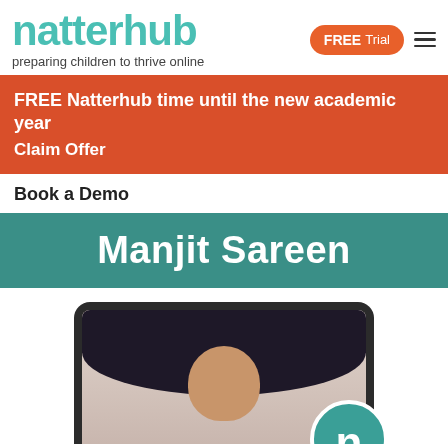natterhub — preparing children to thrive online — FREE Trial
FREE Natterhub time until the new academic year
Claim Offer
Book a Demo
Manjit Sareen
[Figure (photo): Tablet device showing a person (Manjit Sareen) with dark hair on screen, with Natterhub logo circle overlay in bottom right corner of the tablet screen]